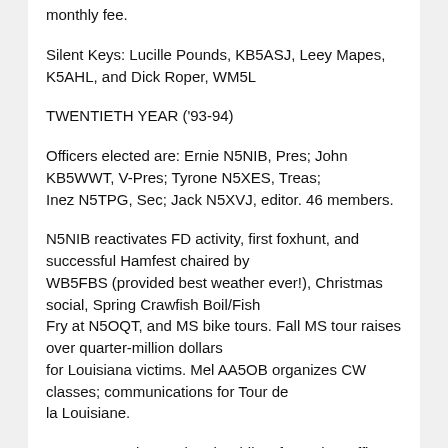monthly fee.
Silent Keys: Lucille Pounds, KB5ASJ, Leey Mapes, K5AHL, and Dick Roper, WM5L
TWENTIETH YEAR ('93-94)
Officers elected are: Ernie N5NIB, Pres; John KB5WWT, V-Pres; Tyrone N5XES, Treas; Inez N5TPG, Sec; Jack N5XVJ, editor. 46 members.
N5NIB reactivates FD activity, first foxhunt, and successful Hamfest chaired by WB5FBS (provided best weather ever!), Christmas social, Spring Crawfish Boil/Fish Fry at N5OQT, and MS bike tours. Fall MS tour raises over quarter-million dollars for Louisiana victims. Mel AA5OB organizes CW classes; communications for Tour de la Louisiane.
Ron KB5QVI is appointed Public Information Officer for ARRL; KSLU installs amateur radio phone and packet station. WAFB-TV (Ch. 9, BR) donates a 6M repeater which SELARS makes available to Ponchatoula SR. The Tangi ARES